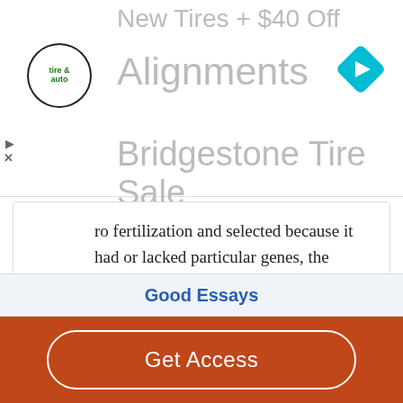[Figure (screenshot): Advertisement banner for Bridgestone Tire Sale with tire & auto logo, navigation icon, showing text: New Tires + $40 Off Alignments, Bridgestone Tire Sale]
ro fertilization and selected because it had or lacked particular genes, the genetic makeup often having been modified by genetic engineering. The impacts and issues with genetic engineering are unquestionably evident. Scientists are gaining more knowledge…
Read More
Good Essays
Get Access